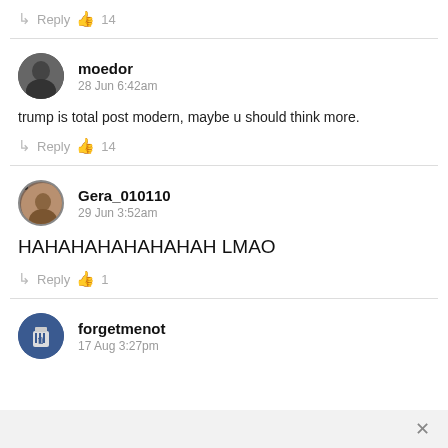↳ Reply 👍 14
[Figure (photo): Circular avatar of user moedor - dark grayscale photo]
moedor
28 Jun 6:42am
trump is total post modern, maybe u should think more.
↳ Reply 👍 14
[Figure (photo): Circular avatar of user Gera_010110 - brownish photo with dot]
Gera_010110
29 Jun 3:52am
HAHAHAHAHAHAHAH LMAO
↳ Reply 👍 1
[Figure (photo): Circular avatar of user forgetmenot - blue trash can icon]
forgetmenot
17 Aug 3:27pm